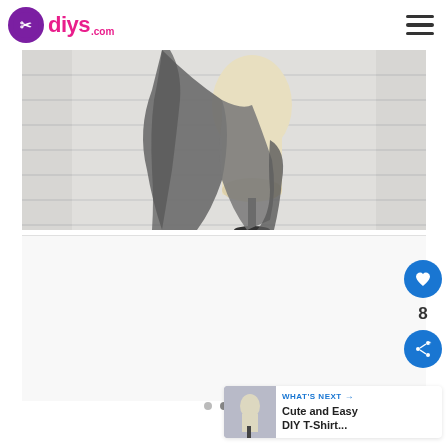diys.com
[Figure (photo): A gray fabric draped over a cream-colored dress mannequin/form on a black stand, against a white shiplap wall background.]
[Figure (photo): White/light gray blank content area placeholder below main image.]
8
WHAT'S NEXT → Cute and Easy DIY T-Shirt...